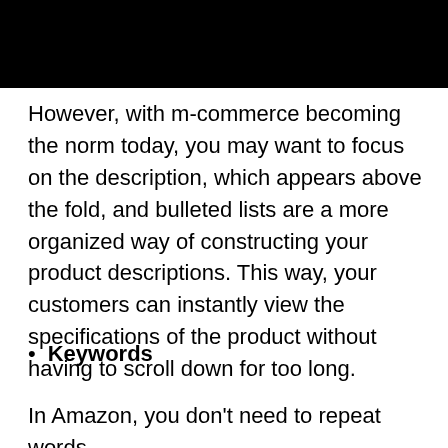However, with m-commerce becoming the norm today, you may want to focus on the description, which appears above the fold, and bulleted lists are a more organized way of constructing your product descriptions. This way, your customers can instantly view the specifications of the product without having to scroll down for too long.
Keywords
In Amazon, you don't need to repeat words